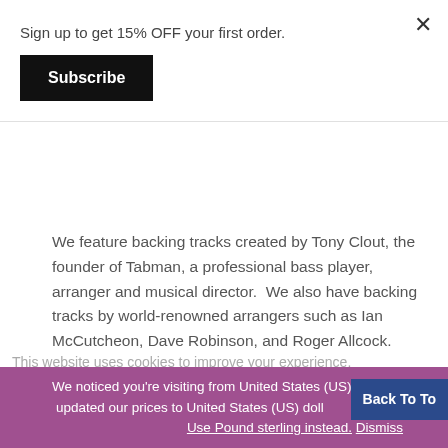Sign up to get 15% OFF your first order.
Subscribe
We feature backing tracks created by Tony Clout, the founder of Tabman, a professional bass player, arranger and musical director.  We also have backing tracks by world-renowned arrangers such as Ian McCutcheon, Dave Robinson, and Roger Allcock.
Track Title: I Wish It Could Be Christmas Every
This website uses cookies to improve your experience.
We noticed you're visiting from United States (US). We've updated our prices to United States (US) dollars for your shopping convenience. Use Pound sterling instead. Dismiss
Back To To